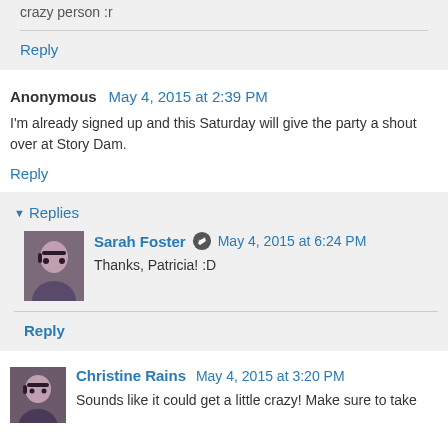crazy person :r
Reply
Anonymous May 4, 2015 at 2:39 PM
I'm already signed up and this Saturday will give the party a shout over at Story Dam.
Reply
Replies
Sarah Foster May 4, 2015 at 6:24 PM
Thanks, Patricia! :D
Reply
Christine Rains May 4, 2015 at 3:20 PM
Sounds like it could get a little crazy! Make sure to take